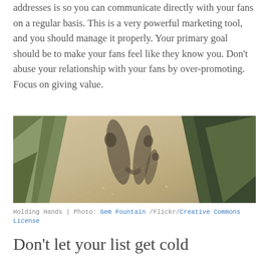addresses is so you can communicate directly with your fans on a regular basis.  This is a very powerful marketing tool, and you should manage it properly.  Your primary goal should be to make your fans feel like they know you.  Don't abuse your relationship with your fans by over-promoting.  Focus on giving value.
[Figure (photo): A photograph of two people's shadows cast on a dirt path, holding hands. Green vegetation and grass on both sides of the path.]
Holding Hands | Photo: Gem Fountain /Flickr/Creative Commons License
Don't let your list get cold